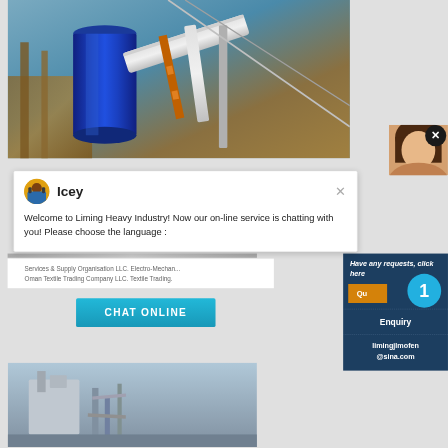[Figure (photo): Industrial machinery photo showing blue cylindrical equipment, insulated pipes, and structural framework]
[Figure (photo): Person with brown hair visible in top right corner next to a black close button]
Icey
Welcome to Liming Heavy Industry! Now our on-line service is chatting with you! Please choose the language :
Services & Supply Organisation LLC. Electro-Mechanical ... Oman Textile Trading Company LLC. Textile Trading.
CHAT ONLINE
Have any requests, click here
1
Enquiry
limingjlmofen@sina.com
[Figure (photo): Bottom strip showing industrial equipment in outdoor setting]